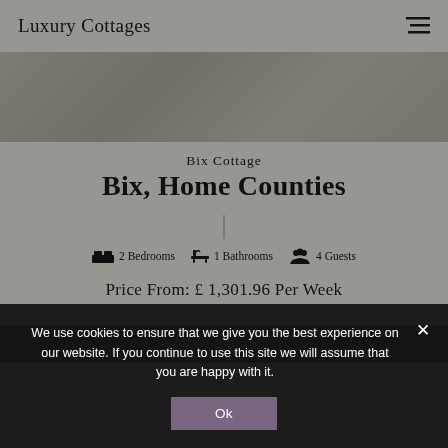Luxury Cottages
[Figure (photo): Hero image of a cottage exterior or pool area, partially visible at the top]
Bix Cottage
Bix, Home Counties
2 Bedrooms  1 Bathrooms  4 Guests
Price From: £ 1,301.96 Per Week
We use cookies to ensure that we give you the best experience on our website. If you continue to use this site we will assume that you are happy with it.